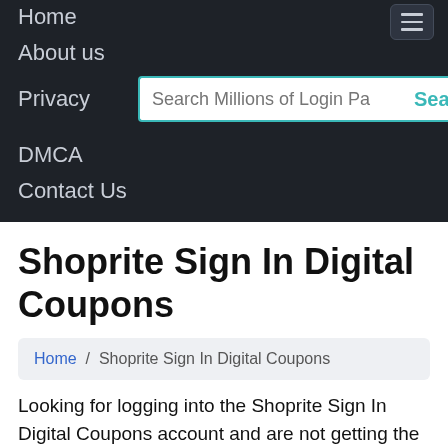Home
About us
Privacy
DMCA
Contact Us
Shoprite Sign In Digital Coupons
Home / Shoprite Sign In Digital Coupons
Looking for logging into the Shoprite Sign In Digital Coupons account and are not getting the correct working link for it? In such a case, you can use the links given here by searching